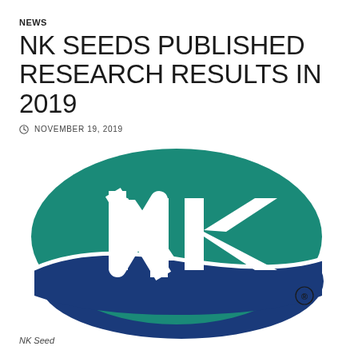NEWS
NK SEEDS PUBLISHED RESEARCH RESULTS IN 2019
NOVEMBER 19, 2019
[Figure (logo): NK Seeds oval logo with teal green upper half showing white NK letters and dark blue lower half, with registered trademark symbol]
NK Seed